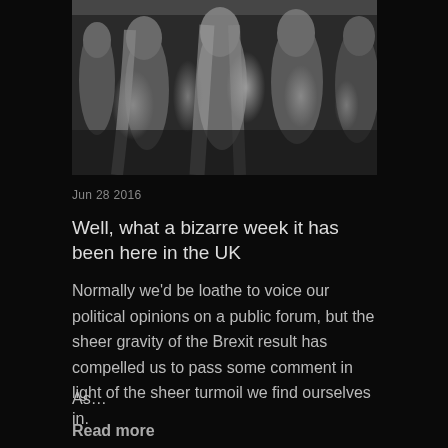[Figure (photo): Black and white group photo of several people posing together, partially cropped, against a dark background]
Jun 28 2016
Well, what a bizarre week it has been here in the UK
Normally we'd be loathe to voice our political opinions on a public forum, but the sheer gravity of the Brexit result has compelled us to pass some comment in light of the sheer turmoil we find ourselves in.
As…
Read more